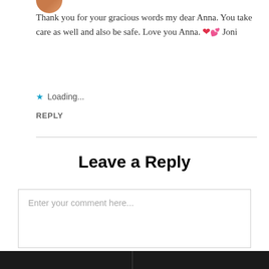[Figure (photo): Circular avatar/profile image partially visible at top]
Thank you for your gracious words my dear Anna. You take care as well and also be safe. Love you Anna. ❤️💕 Joni
★ Loading...
REPLY
Leave a Reply
Enter your comment here...